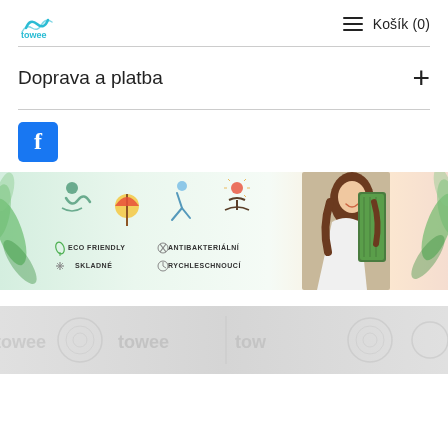towee — Košík (0)
Doprava a platba
[Figure (logo): Facebook logo icon — blue square with white 'f']
[Figure (infographic): Towee product banner: four activity icons (swimmer, beach chair, cyclist, meditating figure), feature labels ECO FRIENDLY, ANTIBAKTERIÁLNÍ, SKLADNÉ, RYCHLESCHNOUCÍ, woman holding green towel, tropical leaf decorations]
[Figure (photo): Product strip showing towee branded towel thumbnails with watermark logos in grey]